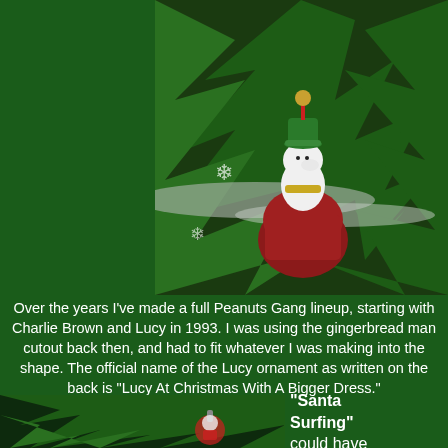[Figure (photo): A Snoopy Christmas ornament sitting on a red doghouse, hanging on a Christmas tree with silver tinsel and snowflake decorations. Snoopy wears a green hat and scarf.]
Over the years I've made a full Peanuts Gang lineup, starting with Charlie Brown and Lucy in 1993. I was using the gingerbread man cutout back then, and had to fit whatever I was making into the shape. The official name of the Lucy ornament as written on the back is "Lucy At Christmas With A Bigger Dress."
[Figure (photo): Partial view of another Christmas ornament on a Christmas tree, partially visible at the bottom left of the page.]
"Santa Surfing" could have